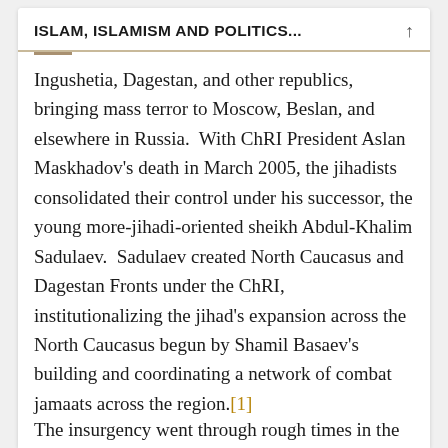ISLAM, ISLAMISM AND POLITICS...
Ingushetia, Dagestan, and other republics, bringing mass terror to Moscow, Beslan, and elsewhere in Russia.  With ChRI President Aslan Maskhadov’s death in March 2005, the jihadists consolidated their control under his successor, the young more-jihadi-oriented sheikh Abdul-Khalim Sadulaev.  Sadulaev created North Caucasus and Dagestan Fronts under the ChRI, institutionalizing the jihad’s expansion across the North Caucasus begun by Shamil Basaev’s building and coordinating a network of combat jamaats across the region.[1]
The insurgency went through rough times in the